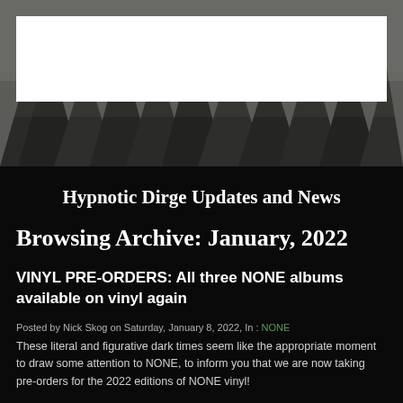[Figure (photo): Dark forest/trees background image with a white rectangular bar overlaid in the upper portion, serving as the website header area]
Hypnotic Dirge Updates and News
Browsing Archive: January, 2022
VINYL PRE-ORDERS: All three NONE albums available on vinyl again
Posted by Nick Skog on Saturday, January 8, 2022, In : NONE
These literal and figurative dark times seem like the appropriate moment to draw some attention to NONE, to inform you that we are now taking pre-orders for the 2022 editions of NONE vinyl!